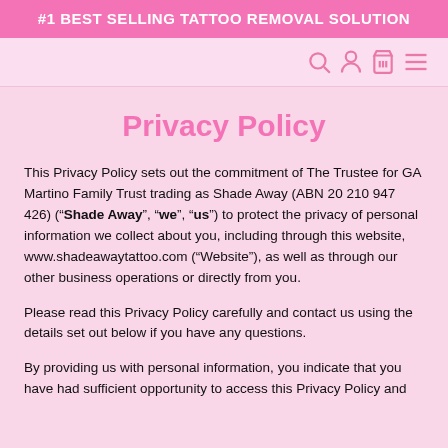#1 BEST SELLING TATTOO REMOVAL SOLUTION
Privacy Policy
This Privacy Policy sets out the commitment of The Trustee for GA Martino Family Trust trading as Shade Away (ABN 20 210 947 426) (“Shade Away”, “we”, “us”) to protect the privacy of personal information we collect about you, including through this website, www.shadeawaytattoo.com (“Website”), as well as through our other business operations or directly from you.
Please read this Privacy Policy carefully and contact us using the details set out below if you have any questions.
By providing us with personal information, you indicate that you have had sufficient opportunity to access this Privacy Policy and